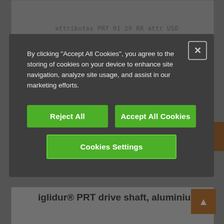attributes PRT 01 20 RR attr USD
By clicking "Accept All Cookies", you agree to the storing of cookies on your device to enhance site navigation, analyze site usage, and assist in our marketing efforts.
Reject All
Accept All Cookies
Cookies Settings
To the product page
iglidur® PRT drive shaft, aluminium